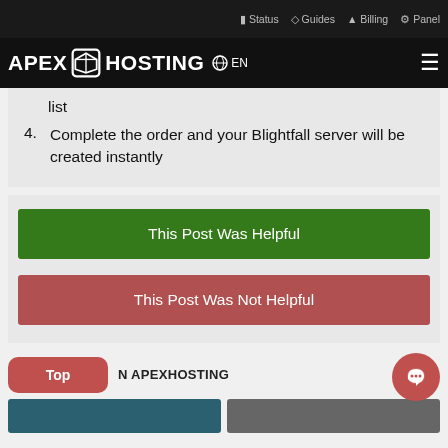Status  Guides  Billing  Panel
APEX HOSTING  EN
list
4. Complete the order and your Blightfall server will be created instantly
This Post Was Helpful
This Post Was Not Helpful
Top
N APEXHOSTING